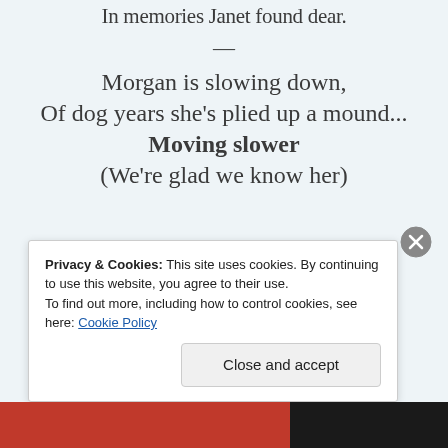In memories Janet found dear.
—
Morgan is slowing down,
Of dog years she’s plied up a mound…
Moving slower
(We’re glad we know her)
Privacy & Cookies: This site uses cookies. By continuing to use this website, you agree to their use.
To find out more, including how to control cookies, see here: Cookie Policy
Close and accept